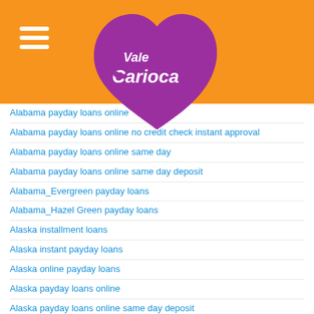[Figure (logo): Vale Carioca logo — a purple heart shape with white cursive text 'Vale Carioca' on an orange header background]
Alabama payday loans online
Alabama payday loans online no credit check instant approval
Alabama payday loans online same day
Alabama payday loans online same day deposit
Alabama_Evergreen payday loans
Alabama_Hazel Green payday loans
Alaska installment loans
Alaska instant payday loans
Alaska online payday loans
Alaska payday loans online
Alaska payday loans online same day deposit
alaska reviews
Alaska what is an installment loan
alaska-anchorage-dating review